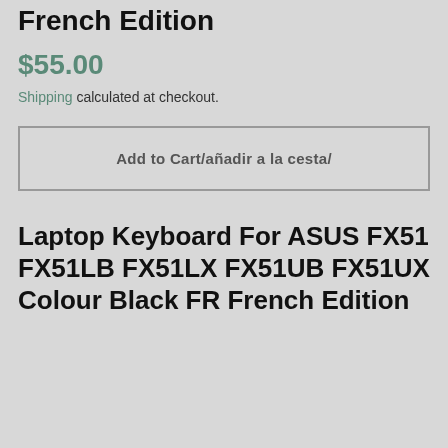French Edition
$55.00
Shipping calculated at checkout.
Add to Cart/añadir a la cesta/
Laptop Keyboard For ASUS FX51 FX51LB FX51LX FX51UB FX51UX Colour Black FR French Edition